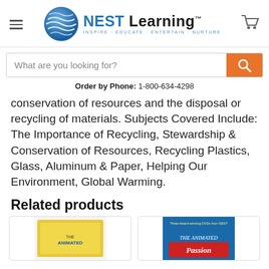[Figure (logo): NEST Learning logo with globe icon and tagline INSPIRE · EDUCATE · ENTERTAIN · NURTURE]
[Figure (screenshot): Search bar with placeholder text 'What are you looking for?' and orange search button]
Order by Phone: 1-800-634-4298
conservation of resources and the disposal or recycling of materials. Subjects Covered Include: The Importance of Recycling, Stewardship & Conservation of Resources, Recycling Plastics, Glass, Aluminum & Paper, Helping Our Environment, Global Warming.
Related products
[Figure (photo): Partially visible product card showing The Animated series with yellow packaging]
[Figure (photo): Partially visible product card showing The Animated Passion with red/blue cover art]